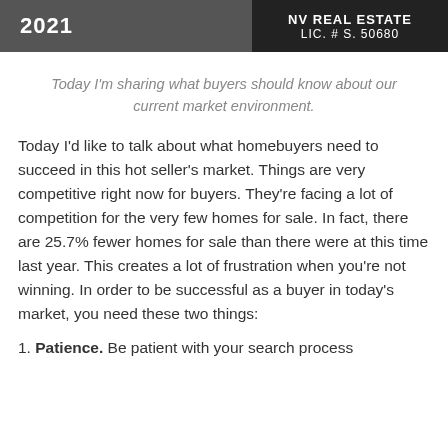2021 | NV REAL ESTATE LIC. # S. 50680
Today I'm sharing what buyers should know about our current market environment.
Today I'd like to talk about what homebuyers need to succeed in this hot seller's market. Things are very competitive right now for buyers. They're facing a lot of competition for the very few homes for sale. In fact, there are 25.7% fewer homes for sale than there were at this time last year. This creates a lot of frustration when you're not winning. In order to be successful as a buyer in today's market, you need these two things:
1. Patience. Be patient with your search process